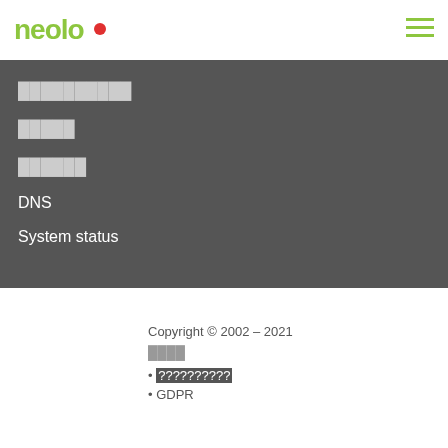neolo
██████████
█████
██████
DNS
System status
Copyright © 2002 – 2021
████
??????????
GDPR